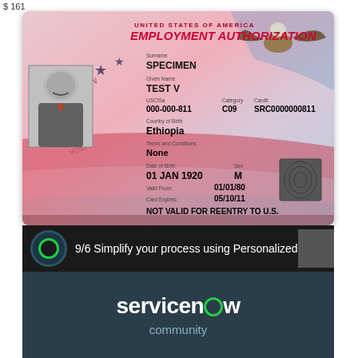$ 161
[Figure (photo): United States Employment Authorization Card (EAD) specimen. Front of card showing: UNITED STATES OF AMERICA EMPLOYMENT AUTHORIZATION, Surname: SPECIMEN, Given Name: TEST V, USCISa: 000-000-811, Category: C09, Card#: SRC0000000811, Country of Birth: Ethiopia, Terms and Conditions: None, Date of Birth: 01 JAN 1920, Sex: M, Valid From: 01/01/80, Card Expires: 05/10/11, NOT VALID FOR REENTRY TO U.S. Photo of male specimen, fingerprint box, eagle graphic background.]
9/6 Simplify your process using Personalized
[Figure (logo): ServiceNow community logo on dark teal background]
servicenow community